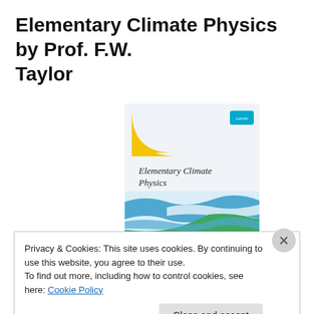Elementary Climate Physics by Prof. F.W. Taylor
[Figure (illustration): Book cover of Elementary Climate Physics showing a yellow sun quarter-circle in the upper left, the title text in serif font, blue/white/green wave design at the bottom, and a small cyan publisher logo (Lorryrm) in the upper right.]
Privacy & Cookies: This site uses cookies. By continuing to use this website, you agree to their use.
To find out more, including how to control cookies, see here: Cookie Policy